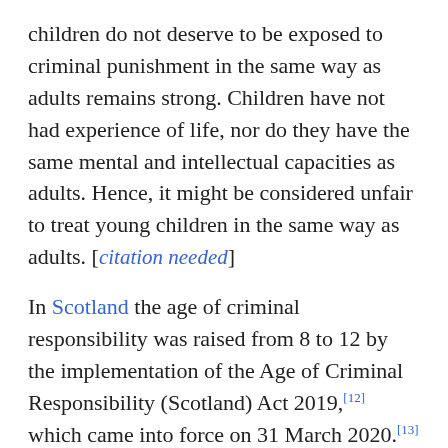children do not deserve to be exposed to criminal punishment in the same way as adults remains strong. Children have not had experience of life, nor do they have the same mental and intellectual capacities as adults. Hence, it might be considered unfair to treat young children in the same way as adults. [citation needed]
In Scotland the age of criminal responsibility was raised from 8 to 12 by the implementation of the Age of Criminal Responsibility (Scotland) Act 2019,[12] which came into force on 31 March 2020.[13][14] In England and Wales and Northern Ireland the age of responsibility is 10 years, and in the Netherlands and Canada the age of